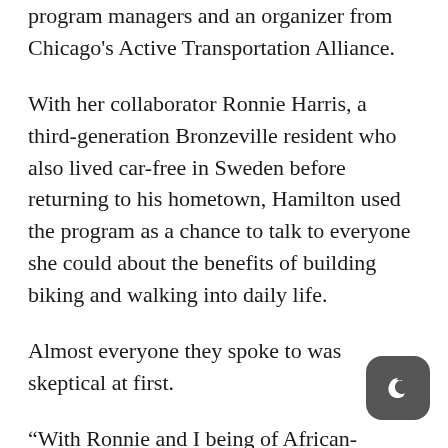program managers and an organizer from Chicago's Active Transportation Alliance.
With her collaborator Ronnie Harris, a third-generation Bronzeville resident who also lived car-free in Sweden before returning to his hometown, Hamilton used the program as a chance to talk to everyone she could about the benefits of building biking and walking into daily life.
Almost everyone they spoke to was skeptical at first.
“With Ronnie and I being of African-American descent, we really looked people in the eye and said, look, we’re not going to argue with you about this,” Hamilton said. “We have obesity in our community. We have diabetes. We need to make a